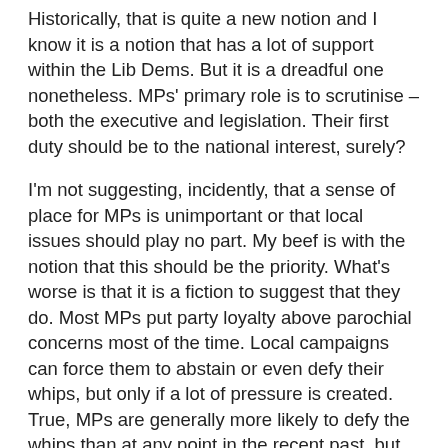Historically, that is quite a new notion and I know it is a notion that has a lot of support within the Lib Dems. But it is a dreadful one nonetheless. MPs' primary role is to scrutinise – both the executive and legislation. Their first duty should be to the national interest, surely?
I'm not suggesting, incidently, that a sense of place for MPs is unimportant or that local issues should play no part. My beef is with the notion that this should be the priority. What's worse is that it is a fiction to suggest that they do. Most MPs put party loyalty above parochial concerns most of the time. Local campaigns can force them to abstain or even defy their whips, but only if a lot of pressure is created. True, MPs are generally more likely to defy the whips than at any point in the recent past, but this is still the exception rather than the norm.
Either way, the notion of the MP as an independently minded individual who cares passionately about working